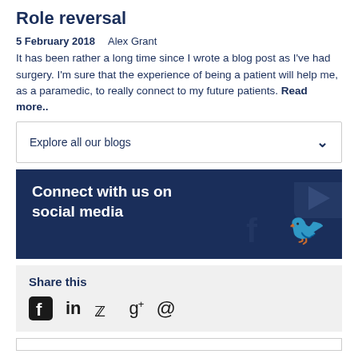Role reversal
5 February 2018   Alex Grant
It has been rather a long time since I wrote a blog post as I've had surgery. I'm sure that the experience of being a patient will help me, as a paramedic, to really connect to my future patients. Read more..
Explore all our blogs
Connect with us on social media
Share this
[Figure (illustration): Social media share icons: Facebook, LinkedIn, Twitter, Google+, Email]